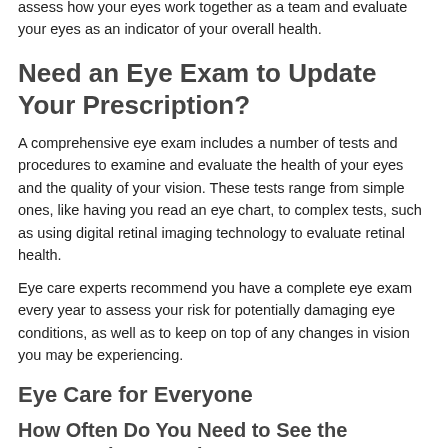assess how your eyes work together as a team and evaluate your eyes as an indicator of your overall health.
Need an Eye Exam to Update Your Prescription?
A comprehensive eye exam includes a number of tests and procedures to examine and evaluate the health of your eyes and the quality of your vision. These tests range from simple ones, like having you read an eye chart, to complex tests, such as using digital retinal imaging technology to evaluate retinal health.
Eye care experts recommend you have a complete eye exam every year to assess your risk for potentially damaging eye conditions, as well as to keep on top of any changes in vision you may be experiencing.
Eye Care for Everyone
How Often Do You Need to See the Optometrist, Based on Age?
The AOA recommends an annual eye exam for any patient who